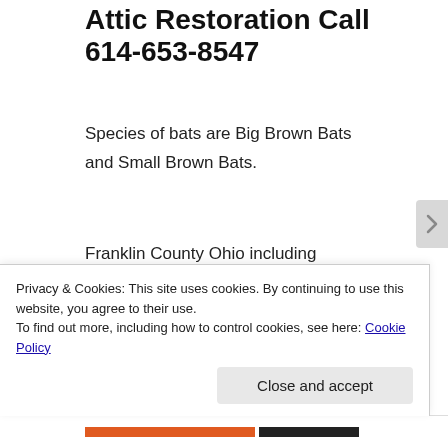Attic Restoration Call 614-653-8547
Species of bats are Big Brown Bats and Small Brown Bats.
Franklin County Ohio including wildlife removal in Franklin County Ohio including wildlife removal in Bannon Ohio, Bexley Ohio, Blacklick Estates OH, Brice
Privacy & Cookies: This site uses cookies. By continuing to use this website, you agree to their use.
To find out more, including how to control cookies, see here: Cookie Policy
Close and accept